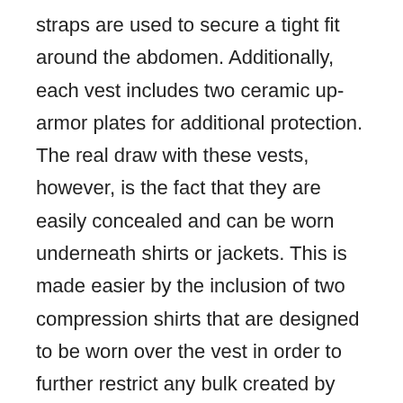straps are used to secure a tight fit around the abdomen. Additionally, each vest includes two ceramic up-armor plates for additional protection. The real draw with these vests, however, is the fact that they are easily concealed and can be worn underneath shirts or jackets. This is made easier by the inclusion of two compression shirts that are designed to be worn over the vest in order to further restrict any bulk created by the vest. Additionally, each component is packed into a large nylon carrying case.
The Garant Protection ballistic vest is available in four sizes: medium (M), large (L), extra-large (XL) and double extra-large (XXL).
Because the Garant Protection ballistic vest was